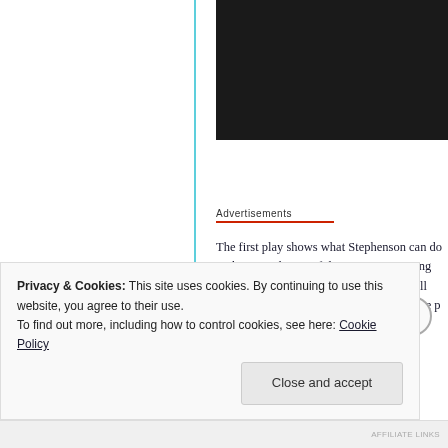[Figure (photo): Black rectangular image area at top right of page, content obscured/dark]
Advertisements
The first play shows what Stephenson can do with pace. Change of direction, an opening rev one is about what kind of a pick-n-roll thr where he changes the side on which the p mode. That brings me to the next thing I d
Privacy & Cookies: This site uses cookies. By continuing to use this website, you agree to their use.
To find out more, including how to control cookies, see here: Cookie Policy
Close and accept